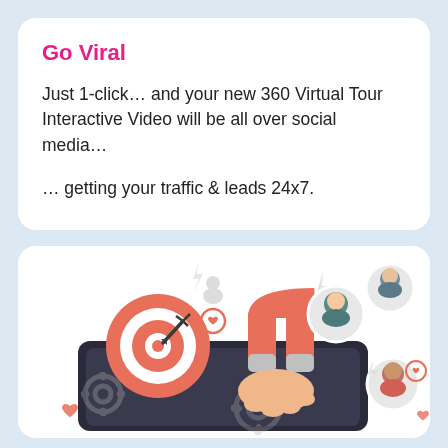Go Viral
Just 1-click… and your new 360 Virtual Tour Interactive Video will be all over social media…
… getting your traffic & leads 24x7.
[Figure (illustration): Marketing illustration showing a hand holding a red magnet attracting people icons and heart symbols, with a target/bullseye and gear icons on a device screen background.]